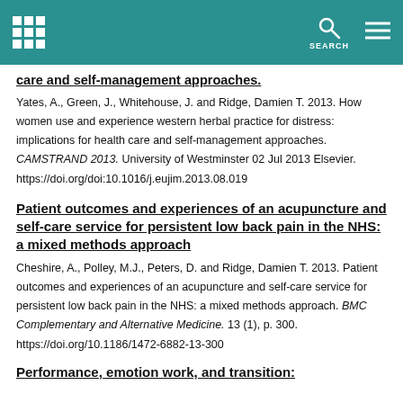SEARCH
care and self-management approaches.
Yates, A., Green, J., Whitehouse, J. and Ridge, Damien T. 2013. How women use and experience western herbal practice for distress: implications for health care and self-management approaches. CAMSTRAND 2013. University of Westminster 02 Jul 2013 Elsevier. https://doi.org/doi:10.1016/j.eujim.2013.08.019
Patient outcomes and experiences of an acupuncture and self-care service for persistent low back pain in the NHS: a mixed methods approach
Cheshire, A., Polley, M.J., Peters, D. and Ridge, Damien T. 2013. Patient outcomes and experiences of an acupuncture and self-care service for persistent low back pain in the NHS: a mixed methods approach. BMC Complementary and Alternative Medicine. 13 (1), p. 300. https://doi.org/10.1186/1472-6882-13-300
Performance, emotion work, and transition: